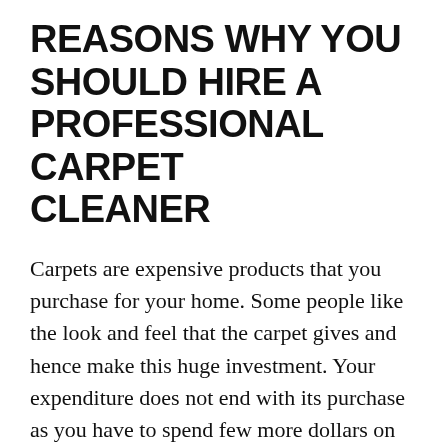REASONS WHY YOU SHOULD HIRE A PROFESSIONAL CARPET CLEANER
Carpets are expensive products that you purchase for your home. Some people like the look and feel that the carpet gives and hence make this huge investment. Your expenditure does not end with its purchase as you have to spend few more dollars on its maintenance. You cannot afford to buy a new carpet every time the old one gets dirty; hence it is very important to take good care of them. Carpets are home to many bacteria and germs, which may cause skin and respiratory problems. Dirt